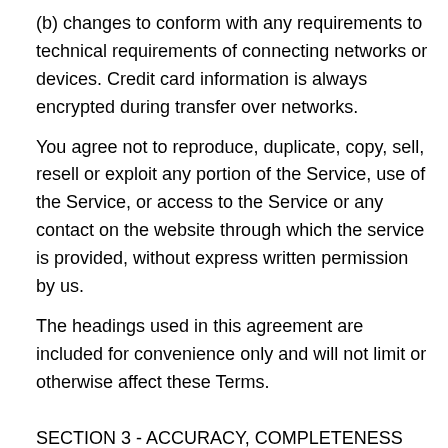(b) changes to conform with any requirements to technical requirements of connecting networks or devices. Credit card information is always encrypted during transfer over networks.
You agree not to reproduce, duplicate, copy, sell, resell or exploit any portion of the Service, use of the Service, or access to the Service or any contact on the website through which the service is provided, without express written permission by us.
The headings used in this agreement are included for convenience only and will not limit or otherwise affect these Terms.
SECTION 3 - ACCURACY, COMPLETENESS AND TIMELINESS OF INFORMATION